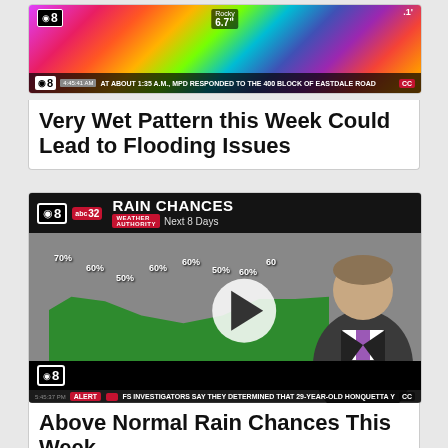[Figure (screenshot): TV news screenshot showing weather radar with colorful doppler radar imagery and a news ticker at the bottom reading 'AT ABOUT 1:35 A.M., MPD RESPONDED TO THE 400 BLOCK OF EASTDALE ROAD']
Very Wet Pattern this Week Could Lead to Flooding Issues
[Figure (screenshot): TV news screenshot showing CBS8/ABC32 weather forecast graphic titled 'RAIN CHANCES Next 8 Days' with a green area chart showing percentages 70%, 60%, 50%, 60%, 60%, 50%, 60%, 60% for MON through FRI. A meteorologist stands next to the chart. A play button overlay is visible. Bottom ticker reads 'FS INVESTIGATORS SAY THEY DETERMINED THAT 29-YEAR-OLD HONQUETTA Y']
Above Normal Rain Chances This Week